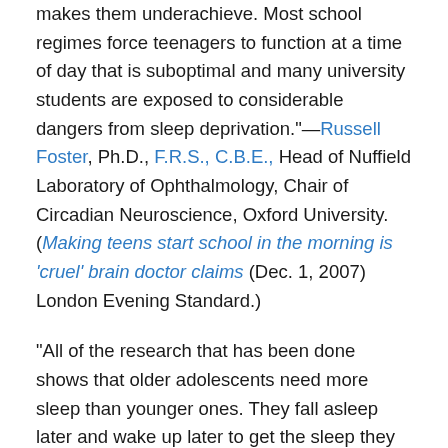makes them underachieve. Most school regimes force teenagers to function at a time of day that is suboptimal and many university students are exposed to considerable dangers from sleep deprivation."—Russell Foster, Ph.D., F.R.S., C.B.E., Head of Nuffield Laboratory of Ophthalmology, Chair of Circadian Neuroscience, Oxford University. (Making teens start school in the morning is 'cruel' brain doctor claims (Dec. 1, 2007) London Evening Standard.)
"All of the research that has been done shows that older adolescents need more sleep than younger ones. They fall asleep later and wake up later to get the sleep they need. Despite these two facts, almost all districts start the senior high schools first. We're sending them to school during the last one-third of their sleep cycles. It's comparable to adults getting up at 3 a.m. or 4 a.m. You wouldn't want to